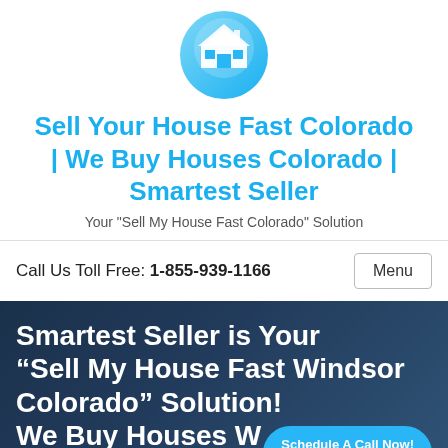[Figure (logo): Circular blue logo with a house icon in white on blue background]
Sell Your House Fast Colorado | We Buy Houses Colorado | Smartest Seller
Your "Sell My House Fast Colorado" Solution
Call Us Toll Free: 1-855-939-1166
Menu
Smartest Seller is Your “Sell My House Fast Windsor Colorado” Solution! We Buy Houses W... Colorado
Schedule A Call Now! powered by Calendly